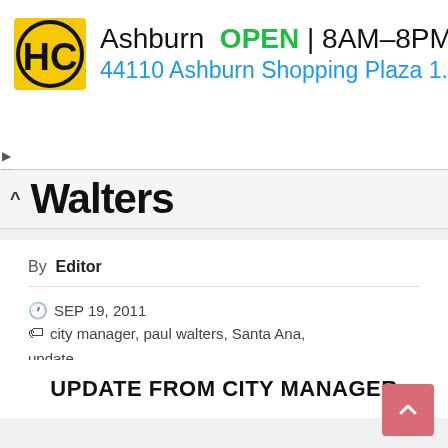[Figure (screenshot): Advertisement banner for Hairclub (HC) in Ashburn. Yellow and black HC logo on left, text: 'Ashburn OPEN 8AM–8PM / 44110 Ashburn Shopping Plaza 1.' with blue navigation diamond icon on right.]
▲ Walters
By Editor
SEP 19, 2011   city manager, paul walters, Santa Ana, update
UPDATE FROM CITY MANAGER